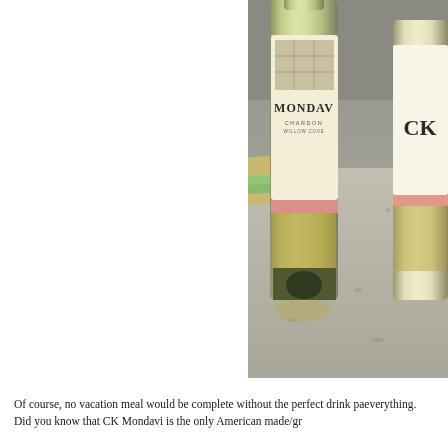[Figure (photo): Close-up photo of two wine bottles on a granite countertop. The main bottle shows 'MONDAVI CHARDONNAY' label with a grid/window image. A second bottle labeled 'CK' is partially visible on the right. A green notepad and some papers are visible in the background. A wine spill is visible on the granite surface.]
Of course, no vacation meal would be complete without the perfect drink pa- everything. Did you know that CK Mondavi is the only American made/gr...